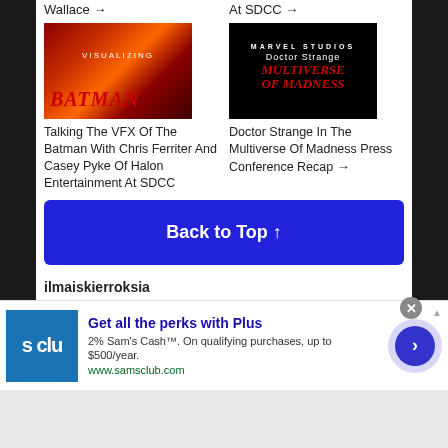Wallace →
At SDCC →
[Figure (photo): Movie poster for The Batman with red and dark tones, text 'VISUALIZING BATMAN']
[Figure (photo): Movie title card for Doctor Strange in the Multiverse of Madness, Marvel Studios logo, black background with red text]
Talking The VFX Of The Batman With Chris Ferriter And Casey Pyke Of Halon Entertainment At SDCC
Doctor Strange In The Multiverse Of Madness Press Conference Recap →
Back to Top ↑
ilmaiskierroksia
Get all the perks with Plus
2% Sam's Cash™. On qualifying purchases, up to $500/year.
www.samsclub.com